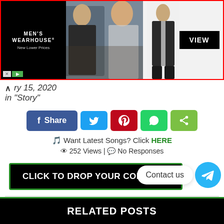[Figure (other): Men's Wearhouse advertisement banner showing a couple in formal wear and a man in a suit, with a VIEW button. Red border around the ad.]
ry 15, 2020
in "Story"
[Figure (infographic): Social share buttons: Facebook Share (blue), Twitter (light blue), Pinterest (red), WhatsApp (green), generic share (lime green)]
🎵 Want Latest Songs? Click HERE
👁 252 Views | 💬 No Responses
CLICK TO DROP YOUR COMMENT
Tags:  WEIRD HEARTS (LOVE IN CIRCLES)
Contact us
RELATED POSTS